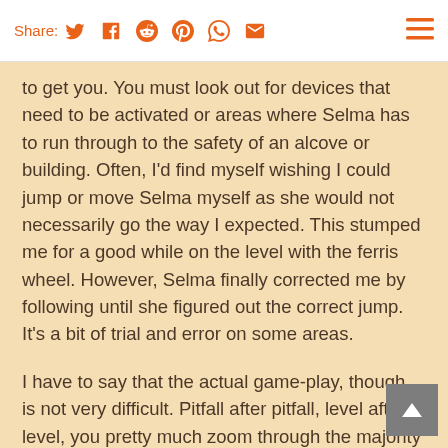Share: [Twitter] [Facebook] [Reddit] [Pinterest] [WhatsApp] [Email] [Menu]
to get you. You must look out for devices that need to be activated or areas where Selma has to run through to the safety of an alcove or building. Often, I'd find myself wishing I could jump or move Selma myself as she would not necessarily go the way I expected. This stumped me for a good while on the level with the ferris wheel. However, Selma finally corrected me by following until she figured out the correct jump. It's a bit of trial and error on some areas.
I have to say that the actual game-play, though, is not very difficult. Pitfall after pitfall, level after level, you pretty much zoom through the majority of the puzzles. I'd say